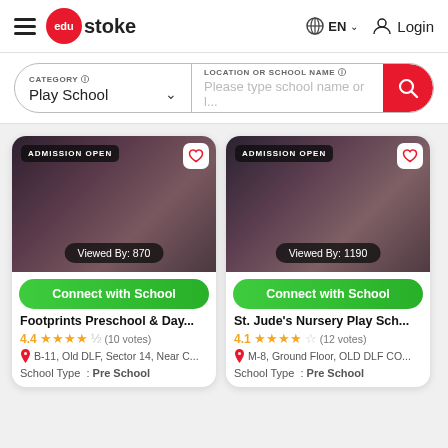edustoke — EN Login
CATEGORY: Play School | LOCATION OR SCHOOL NAME: Please type school name or l...
[Figure (screenshot): School listing card — Footprints Preschool & Day... Admission Open, Viewed By: 870, Connect with School button, 4.4 stars (10 votes), B-11, Old DLF, Sector 14, Near C..., School Type: Pre School]
[Figure (screenshot): School listing card — St. Jude's Nursery Play Sch... Admission Open, Viewed By: 1190, Connect with School button, 4.1 stars (12 votes), M-8, Ground Floor, OLD DLF CO..., School Type: Pre School]